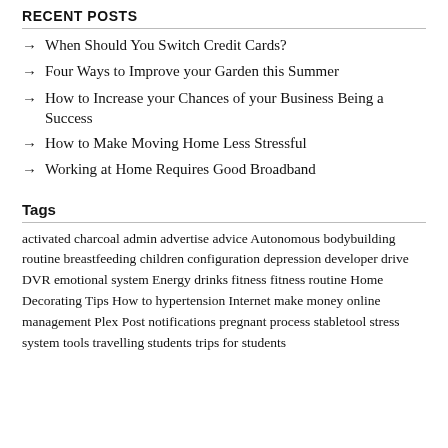Recent Posts
When Should You Switch Credit Cards?
Four Ways to Improve your Garden this Summer
How to Increase your Chances of your Business Being a Success
How to Make Moving Home Less Stressful
Working at Home Requires Good Broadband
Tags
activated charcoal admin advertise advice Autonomous bodybuilding routine breastfeeding children configuration depression developer drive DVR emotional system Energy drinks fitness fitness routine Home Decorating Tips How to hypertension Internet make money online management Plex Post notifications pregnant process stabletool stress system tools travelling students trips for students